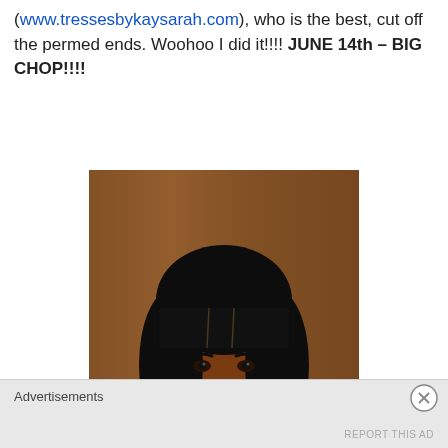(www.tressesbykaysarah.com), who is the best, cut off the permed ends. Woohoo I did it!!!! JUNE 14th – BIG CHOP!!!!
[Figure (photo): Portrait photo of a woman with a black bob haircut with bangs, smiling, wearing earrings, against a wood-paneled background.]
Advertisements